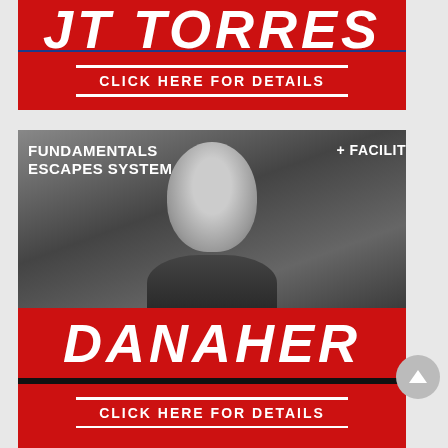[Figure (photo): Top partial banner ad for JT Torres with red background, 'JT TORRES' text at top, blue divider bar, and 'CLICK HERE FOR DETAILS' button with white lines]
[Figure (photo): Danaher Fundamentals Escapes System advertisement banner. Black and white photo of bald man (Danaher) on dark background with 'FUNDAMENTALS ESCAPES SYSTEM' text top left and '+ FACILIT' top right. Large red bar with 'DANAHER' in white italic bold text. Dark separator bar. Red bar below with 'CLICK HERE FOR DETAILS' in white bold text with white lines above and below.]
[Figure (photo): Partial third banner ad visible at the very bottom of the page, red background]